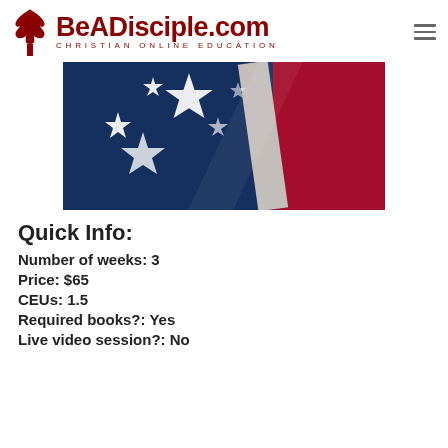BeADisciple.com — CHRISTIAN ONLINE EDUCATION
[Figure (photo): Close-up photograph of an American flag showing stars on blue field and red and white stripes]
Quick Info:
Number of weeks: 3
Price: $65
CEUs: 1.5
Required books?: Yes
Live video session?: No